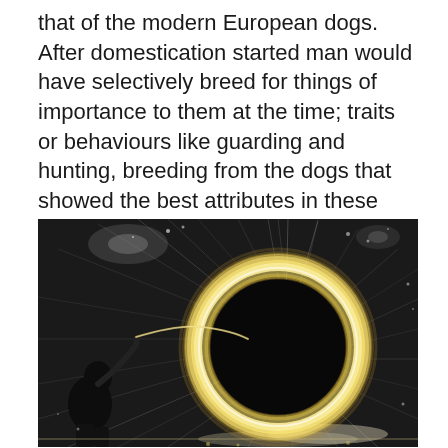that of the modern European dogs. After domestication started man would have selectively breed for things of importance to them at the time; traits or behaviours like guarding and hunting, breeding from the dogs that showed the best attributes in these areas.
[Figure (photo): Long-exposure photograph of steel wool spinning, creating a circular ring of golden sparks and light trails against a dark background. A silhouette of a person is visible on the left side. The bright circular light ring dominates the center of the image with radiating spark trails.]